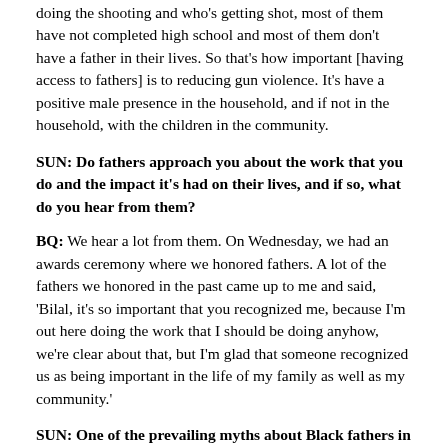doing the shooting and who's getting shot, most of them have not completed high school and most of them don't have a father in their lives. So that's how important [having access to fathers] is to reducing gun violence. It's have a positive male presence in the household, and if not in the household, with the children in the community.
SUN: Do fathers approach you about the work that you do and the impact it's had on their lives, and if so, what do you hear from them?
BQ: We hear a lot from them. On Wednesday, we had an awards ceremony where we honored fathers. A lot of the fathers we honored in the past came up to me and said, 'Bilal, it's so important that you recognized me, because I'm out here doing the work that I should be doing anyhow, we're clear about that, but I'm glad that someone recognized us as being important in the life of my family as well as my community.'
SUN: One of the prevailing myths about Black fathers in particular is that they're deadbeats that spend no